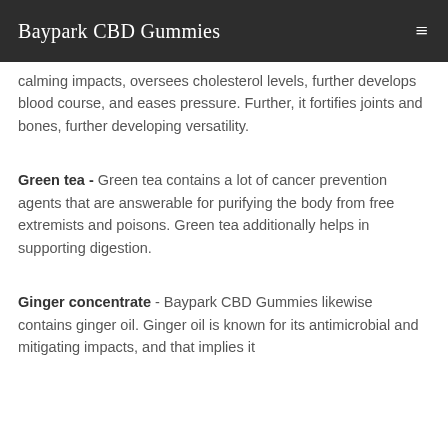Baypark CBD Gummies
calming impacts, oversees cholesterol levels, further develops blood course, and eases pressure. Further, it fortifies joints and bones, further developing versatility.
Green tea - Green tea contains a lot of cancer prevention agents that are answerable for purifying the body from free extremists and poisons. Green tea additionally helps in supporting digestion.
Ginger concentrate - Baypark CBD Gummies likewise contains ginger oil. Ginger oil is known for its antimicrobial and mitigating impacts, and that implies it